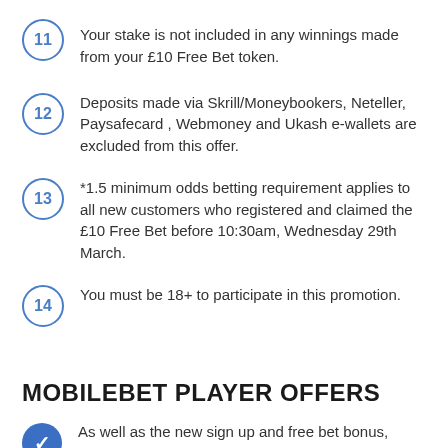Your stake is not included in any winnings made from your £10 Free Bet token.
Deposits made via Skrill/Moneybookers, Neteller, Paysafecard , Webmoney and Ukash e-wallets are excluded from this offer.
*1.5 minimum odds betting requirement applies to all new customers who registered and claimed the £10 Free Bet before 10:30am, Wednesday 29th March.
You must be 18+ to participate in this promotion.
MOBILEBET PLAYER OFFERS
As well as the new sign up and free bet bonus, Mobilebet also...